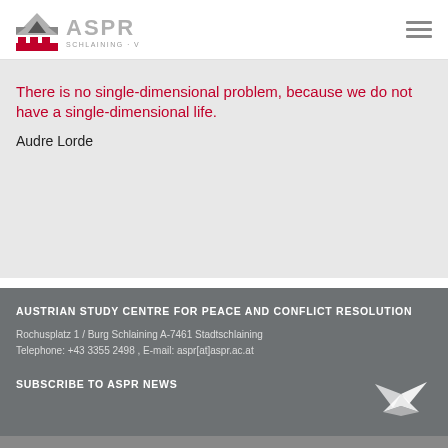[Figure (logo): ASPR Schlaining Vienna logo with red building icon and gray text]
There is no single-dimensional problem, because we do not have a single-dimensional life.
Audre Lorde
AUSTRIAN STUDY CENTRE FOR PEACE AND CONFLICT RESOLUTION
Rochusplatz 1 / Burg Schlaining A-7461 Stadtschlaining
Telephone: +43 3355 2498 , E-mail: aspr[at]aspr.ac.at
[Figure (logo): White origami bird/dove logo]
SUBSCRIBE TO ASPR NEWS